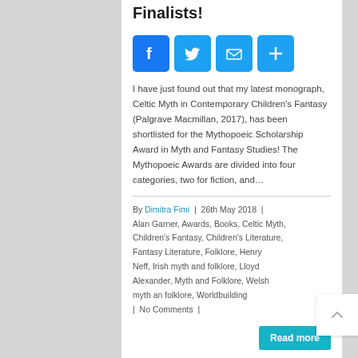Finalists!
[Figure (infographic): Social sharing icons row: Facebook (blue), Twitter (blue), Email (blue), Share/Plus (blue)]
I have just found out that my latest monograph, Celtic Myth in Contemporary Children's Fantasy (Palgrave Macmillan, 2017), has been shortlisted for the Mythopoeic Scholarship Award in Myth and Fantasy Studies! The Mythopoeic Awards are divided into four categories, two for fiction, and...
By Dimitra Fimi | 26th May 2018 | Alan Garner, Awards, Books, Celtic Myth, Children's Fantasy, Children's Literature, Fantasy Literature, Folklore, Henry Neff, Irish myth and folklore, Lloyd Alexander, Myth and Folklore, Welsh myth an folklore, Worldbuilding | No Comments |
Read more